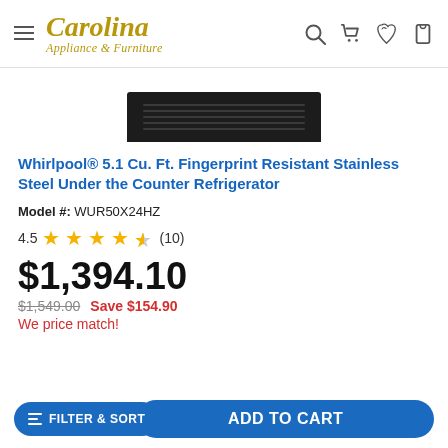Carolina Appliance & Furniture
[Figure (photo): Bottom portion of a dark/black under-counter refrigerator showing a grille vent panel]
Whirlpool® 5.1 Cu. Ft. Fingerprint Resistant Stainless Steel Under the Counter Refrigerator
Model #: WUR50X24HZ
4.5 (10)
$1,394.10
$1,549.00  Save $154.90
We price match!
FILTER & SORT   ADD TO CART